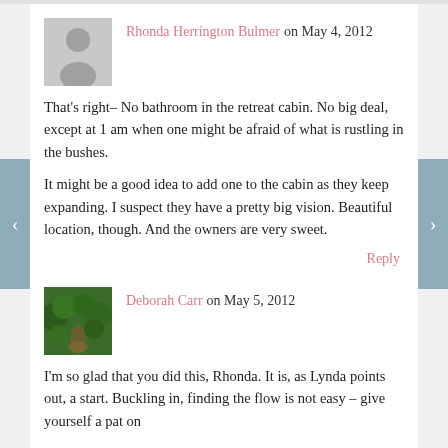Rhonda Herrington Bulmer on May 4, 2012
That's right– No bathroom in the retreat cabin. No big deal, except at 1 am when one might be afraid of what is rustling in the bushes.
It might be a good idea to add one to the cabin as they keep expanding. I suspect they have a pretty big vision. Beautiful location, though. And the owners are very sweet.
Reply
Deborah Carr on May 5, 2012
I'm so glad that you did this, Rhonda. It is, as Lynda points out, a start. Buckling in, finding the flow is not easy – give yourself a pat on